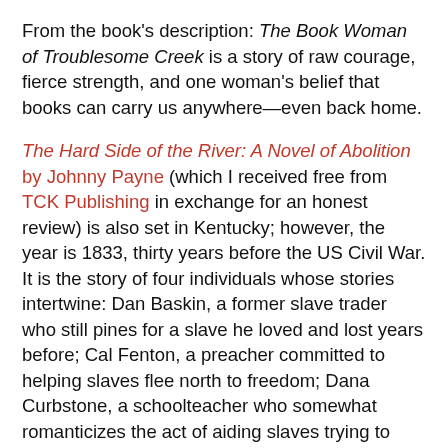From the book's description: The Book Woman of Troublesome Creek is a story of raw courage, fierce strength, and one woman's belief that books can carry us anywhere—even back home.
The Hard Side of the River: A Novel of Abolition by Johnny Payne (which I received free from TCK Publishing in exchange for an honest review) is also set in Kentucky; however, the year is 1833, thirty years before the US Civil War. It is the story of four individuals whose stories intertwine: Dan Baskin, a former slave trader who still pines for a slave he loved and lost years before; Cal Fenton, a preacher committed to helping slaves flee north to freedom; Dana Curbstone, a schoolteacher who somewhat romanticizes the act of aiding slaves trying to escape; and Jacob Pingram, the intelligent and capable slave they are all focused on helping or finding. I enjoyed this story (although there were too many sexual scenes for my taste). It's imperative to note the date at the beginning of each chapter because the middle section of the book veers off to follow Cal and Dana before backtracking to Pingram and Baskin's stories.